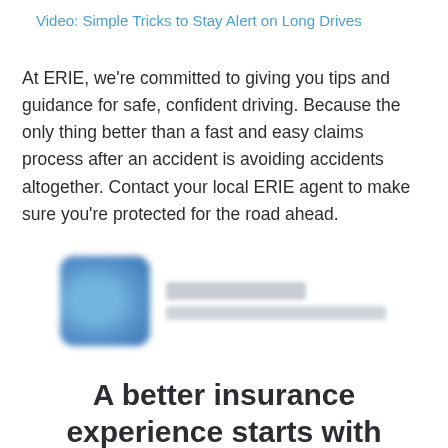Video: Simple Tricks to Stay Alert on Long Drives
At ERIE, we're committed to giving you tips and guidance for safe, confident driving. Because the only thing better than a fast and easy claims process after an accident is avoiding accidents altogether. Contact your local ERIE agent to make sure you're protected for the road ahead.
[Figure (logo): Blurred ERIE insurance logo with blue square icon and gray text]
A better insurance experience starts with